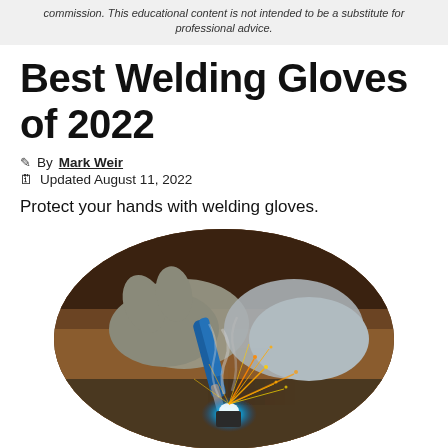commission. This educational content is not intended to be a substitute for professional advice.
Best Welding Gloves of 2022
✎ By Mark Weir
🗓 Updated August 11, 2022
Protect your hands with welding gloves.
[Figure (photo): Oval-cropped photo of a welder wearing thick leather gloves, holding a welding torch with sparks flying, blue arc light visible at the weld point.]